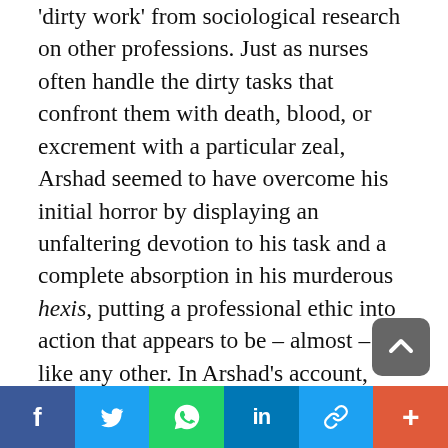'dirty work' from sociological research on other professions. Just as nurses often handle the dirty tasks that confront them with death, blood, or excrement with a particular zeal, Arshad seemed to have overcome his initial horror by displaying an unfaltering devotion to his task and a complete absorption in his murderous hexis, putting a professional ethic into action that appears to be – almost – like any other. In Arshad's account, there is nothing pathological about his vicious act: it is part of a job well done, rather than murder as a fine art. The killers of MQM don't have the scruples, or perhaps
[Figure (other): Social media share bar with buttons for Facebook, Twitter, WhatsApp, LinkedIn, copy link, and more]